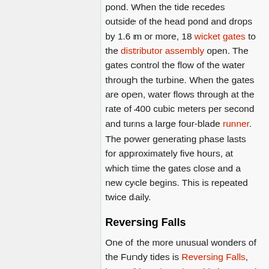pond. When the tide recedes outside of the head pond and drops by 1.6 m or more, 18 wicket gates to the distributor assembly open. The gates control the flow of the water through the turbine. When the gates are open, water flows through at the rate of 400 cubic meters per second and turns a large four-blade runner. The power generating phase lasts for approximately five hours, at which time the gates close and a new cycle begins. This is repeated twice daily.
Reversing Falls
One of the more unusual wonders of the Fundy tides is Reversing Falls, located in Saint John. This is caused by a tidal bore, a wall of water that moves up certain low-lying rivers due to an